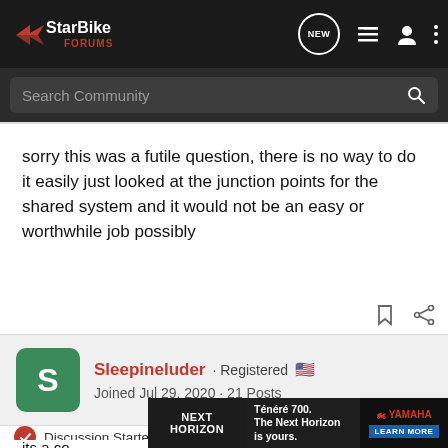StarBike Forums
Search Community
sorry this was a futile question, there is no way to do it easily just looked at the junction points for the shared system and it would not be an easy or worthwhile job possibly
Sleepineluder · Registered
Joined Jul 29, 2020 · 21 Posts
Discussion Starter · #11 · Jul 22, 2022
[Figure (screenshot): Advertisement banner for Yamaha Ténéré 700 motorcycle - The Next Horizon is yours.]